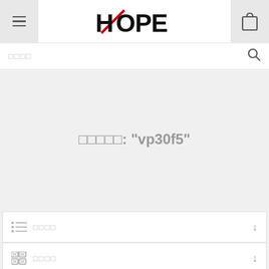[Figure (logo): HOPE brand logo with red slash through H letter, bold black text]
□□□□
□□□□□: "vp30f5"
□□□□
□□□□